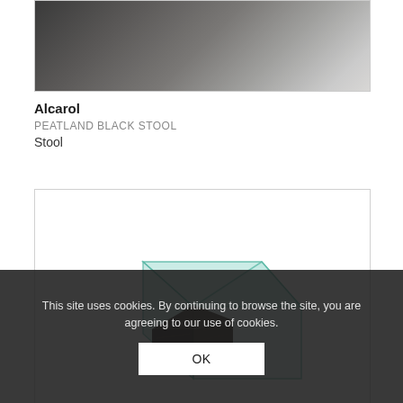[Figure (photo): Product photo of Peatland Black Stool by Alcarol — a dark wooden cube/block stool with a smooth surface, photographed against a light grey background.]
Alcarol
PEATLAND BLACK STOOL
Stool
[Figure (photo): Product photo of a glass and dark wood stool — a cube-shaped piece with transparent aqua-green glass encasing a dark organic material (peat/wood), photographed against a white background.]
This site uses cookies. By continuing to browse the site, you are agreeing to our use of cookies.
OK